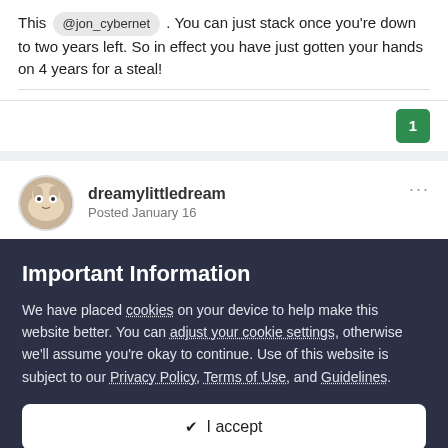This @jon_cybernet . You can just stack once you're down to two years left. So in effect you have just gotten your hands on 4 years for a steal!
[Figure (other): Green badge with number 1, indicating 1 upvote or reaction]
[Figure (other): User avatar for dreamylittledream, anime-style illustration]
dreamylittledream
Posted January 16
Important Information
We have placed cookies on your device to help make this website better. You can adjust your cookie settings, otherwise we'll assume you're okay to continue. Use of this website is subject to our Privacy Policy, Terms of Use, and Guidelines.
✔  I accept